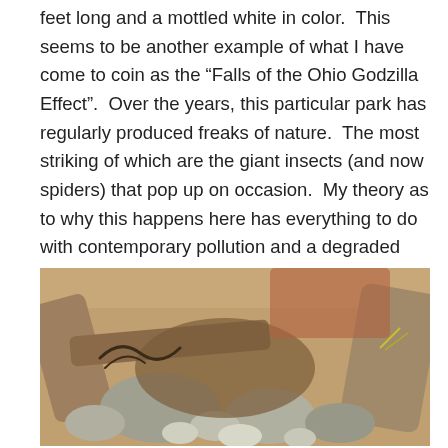feet long and a mottled white in color.  This seems to be another example of what I have come to coin as the “Falls of the Ohio Godzilla Effect”.  Over the years, this particular park has regularly produced freaks of nature.  The most striking of which are the giant insects (and now spiders) that pop up on occasion.  My theory as to why this happens here has everything to do with contemporary pollution and a degraded environment.  For some reason, arthropods in particular are sensitive to these ecological changes which can result in gigantism in these organisms.
[Figure (photo): Photograph of rocks, driftwood, and natural debris on the ground at Falls of the Ohio State Park area.]